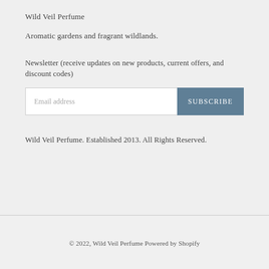Wild Veil Perfume
Aromatic gardens and fragrant wildlands.
Newsletter (receive updates on new products, current offers, and discount codes)
Wild Veil Perfume. Established 2013. All Rights Reserved.
© 2022, Wild Veil Perfume Powered by Shopify